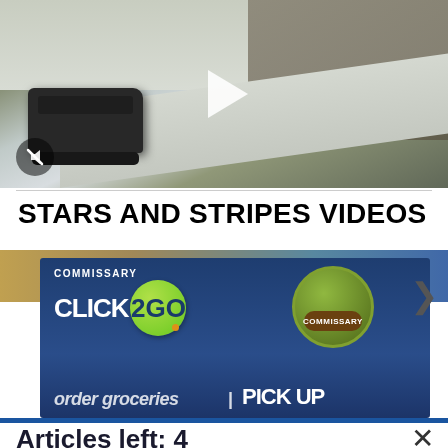[Figure (screenshot): Video thumbnail showing military tracked vehicle on snowy road, aerial view, with play button and mute icon overlay]
STARS AND STRIPES VIDEOS
[Figure (screenshot): Commissary Click2Go advertisement banner with green circle logo and Commissary round badge logo, text reads 'order groceries | PICK UP']
Articles left: 4
Subscribe to get unlimited access  Subscribe
Already have an account?  Login here